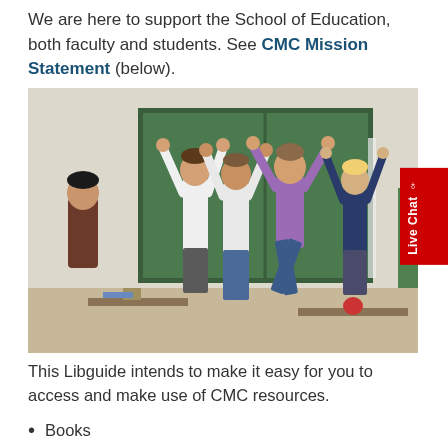We are here to support the School of Education, both faculty and students. See CMC Mission Statement (below).
[Figure (photo): A teacher and four children in a classroom, all with arms raised, jumping and celebrating in front of a green chalkboard. Books and school supplies visible on desks.]
Live Chat
This Libguide intends to make it easy for you to access and make use of CMC resources.
Books